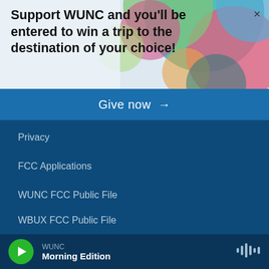[Figure (illustration): Colorful geometric circle/arc shapes in teal, pink, green, orange, blue colors forming a decorative background in the top-right of the banner]
Support WUNC and you'll be entered to win a trip to the destination of your choice!
×
Give now →
Privacy
FCC Applications
WUNC FCC Public File
WBUX FCC Public File
WFSS FCC Public File
WROM FCC Public File
WUNC
Morning Edition